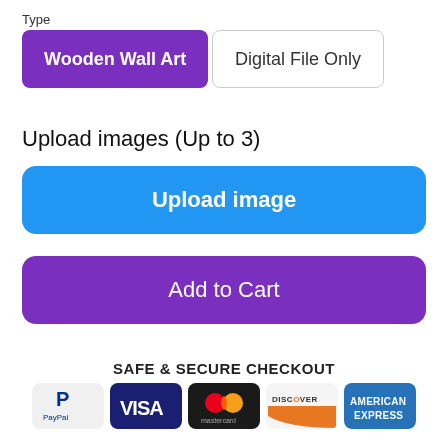Type
Wooden Wall Art
Digital File Only
Upload images (Up to 3)
Upload image
Add to Cart
SAFE & SECURE CHECKOUT
[Figure (infographic): Payment method logos: PayPal, Visa, Mastercard, Discover, American Express]